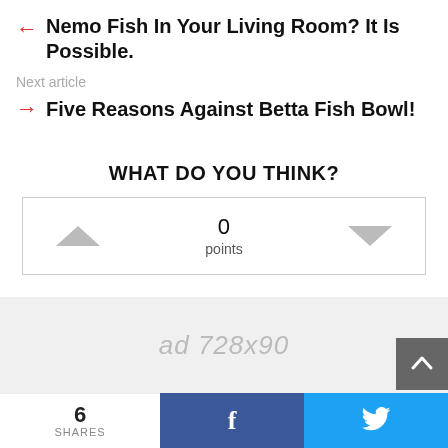← Nemo Fish In Your Living Room? It Is Possible.
Next article
→ Five Reasons Against Betta Fish Bowl!
WHAT DO YOU THINK?
[Figure (other): Vote widget with up chevron, 0 points, and down chevron inside a bordered box]
[Figure (other): Ad placeholder showing 'ad 728x90' with scroll-to-top button]
6 SHARES | Facebook share button | Twitter share button